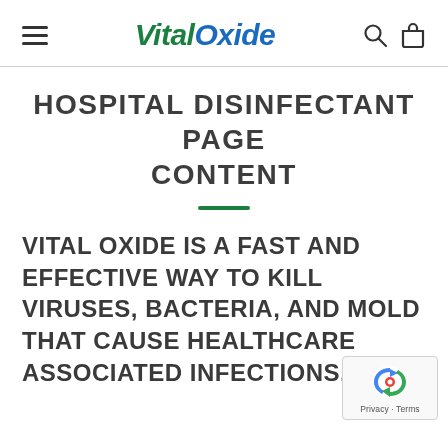VitalOxide
HOSPITAL DISINFECTANT PAGE CONTENT
VITAL OXIDE IS A FAST AND EFFECTIVE WAY TO KILL VIRUSES, BACTERIA, AND MOLD THAT CAUSE HEALTHCARE ASSOCIATED INFECTIONS.